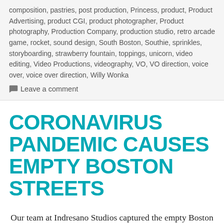composition, pastries, post production, Princess, product, Product Advertising, product CGI, product photographer, Product photography, Production Company, production studio, retro arcade game, rocket, sound design, South Boston, Southie, sprinkles, storyboarding, strawberry fountain, toppings, unicorn, video editing, Video Productions, videography, VO, VO direction, voice over, voice over direction, Willy Wonka
Leave a comment
CORONAVIRUS PANDEMIC CAUSES EMPTY BOSTON STREETS
Our team at Indresano Studios captured the empty Boston streets in quarantine and the Stay at Home Advisory during the COVID19 global pandemic. We